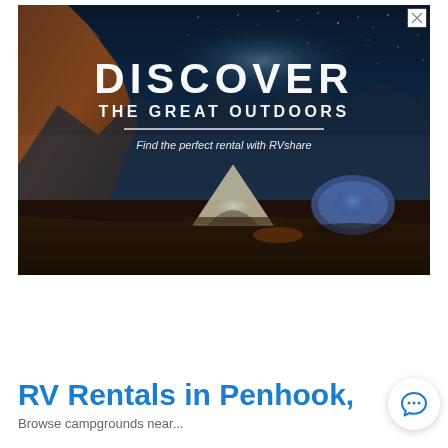[Figure (photo): Advertisement banner with nighttime outdoor camping scene. Rocky desert landscape under a starry sky with the Milky Way visible. Two illuminated tents in the foreground. Text overlay reads 'DISCOVER / THE GREAT OUTDOORS / Find the perfect rental with RVshare'. A white horizontal divider line sits between the heading and subheading. A close/X button appears in the top-right corner of the ad.]
RV Rentals in Penhook,
Browse campgrounds near...